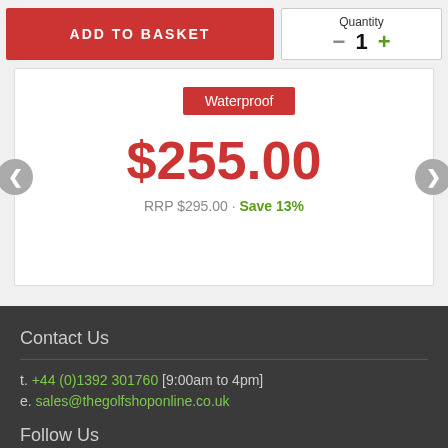ADD TO BASKET
Quantity - 1 +
Waterproof
$255.00
RRP $295.00 · Save 13%
Contact Us
t. +44 (0)1392 301760 [9:00am to 4pm]
e. sales@thegolfshoponline.co.uk
Follow Us